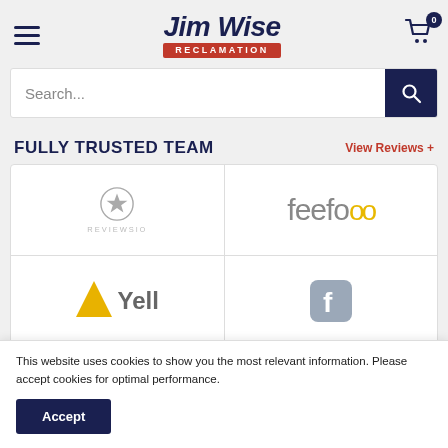[Figure (logo): Jim Wise Reclamation logo with italic bold text and red banner]
[Figure (screenshot): Search bar with dark navy search button]
FULLY TRUSTED TEAM
View Reviews +
[Figure (logo): Reviews.io logo with star icon]
[Figure (logo): Feefo logo in grey with yellow dots]
[Figure (logo): Yell logo with yellow triangle and grey text]
[Figure (logo): Facebook logo in grey/blue]
This website uses cookies to show you the most relevant information. Please accept cookies for optimal performance.
Accept